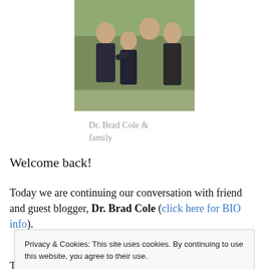[Figure (photo): A family photo showing Dr. Brad Cole with family members, appearing to be outdoors]
Dr. Brad Cole & family
Welcome back!
Today we are continuing our conversation with friend and guest blogger, Dr. Brad Cole (click here for BIO info).
This is the second and final part of his essay on making
Privacy & Cookies: This site uses cookies. By continuing to use this website, you agree to their use.
To find out more, including how to control cookies, see here: Cookie Policy